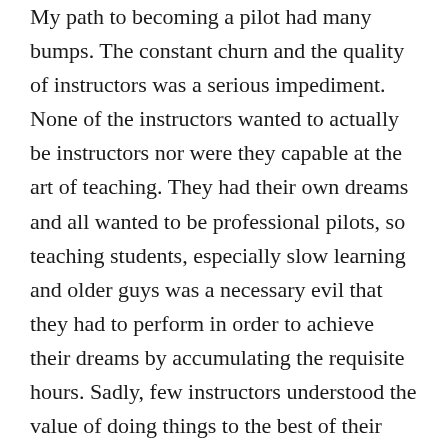My path to becoming a pilot had many bumps. The constant churn and the quality of instructors was a serious impediment. None of the instructors wanted to actually be instructors nor were they capable at the art of teaching. They had their own dreams and all wanted to be professional pilots, so teaching students, especially slow learning and older guys was a necessary evil that they had to perform in order to achieve their dreams by accumulating the requisite hours. Sadly, few instructors understood the value of doing things to the best of their ability as they pursued their own goals and just put in the hours to climb their personal ladders of success rather than to place the paying customer and student pilot first. So, I learned lots of bad habits too that had to be fixed.